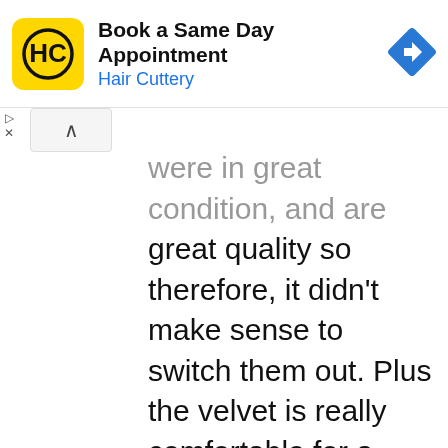[Figure (screenshot): Advertisement banner for Hair Cuttery: 'Book a Same Day Appointment' with yellow HC logo and blue navigation arrow icon]
were in great condition, and are great quality so therefore, it didn't make sense to switch them out. Plus the velvet is really comfortable for a theatre room.

We went with a really rich, dark color on the walls and moulding (Benjamin Moore Iron Mountain). I wanted to carry that same